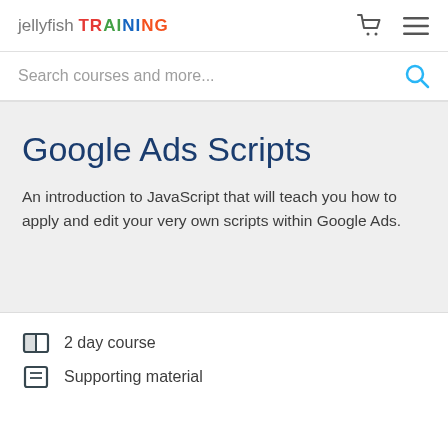jellyfish TRAINING
Search courses and more...
Google Ads Scripts
An introduction to JavaScript that will teach you how to apply and edit your very own scripts within Google Ads.
2 day course
Supporting material